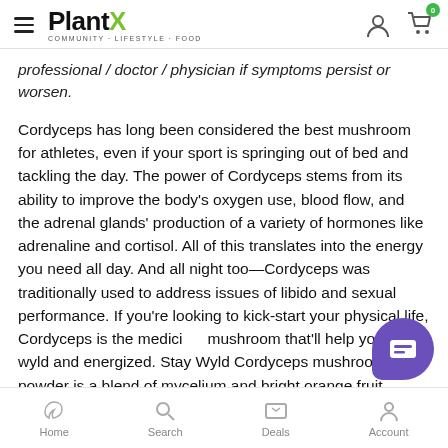PlantX — COMMUNITY · LIFESTYLE · FOOD
professional / doctor / physician if symptoms persist or worsen.
Cordyceps has long been considered the best mushroom for athletes, even if your sport is springing out of bed and tackling the day. The power of Cordyceps stems from its ability to improve the body's oxygen use, blood flow, and the adrenal glands' production of a variety of hormones like adrenaline and cortisol. All of this translates into the energy you need all day. And all night too—Cordyceps was traditionally used to address issues of libido and sexual performance. If you're looking to kick-start your physical life, Cordyceps is the medicinal mushroom that'll help you stay wyld and energized. Stay Wyld Cordyceps mushroom powder is a blend of mycelium and bright orange fruit bodies. Our Cordyceps
Home  Search  Deals  Account